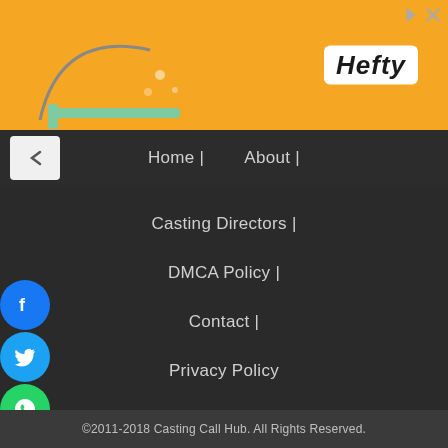[Figure (other): Orange advertisement banner with Hefty logo on white rounded background and close/arrow buttons in top right]
Home | About |
Casting Directors |
DMCA Policy |
Contact |
Privacy Policy
©2011-2018 Casting Call Hub. All Rights Reserved.